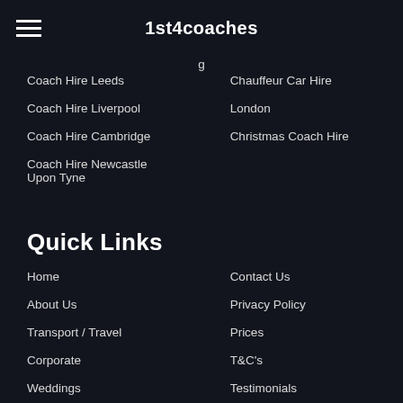1st4coaches
Coach Hire Leeds
Chauffeur Car Hire
Coach Hire Liverpool
London
Coach Hire Cambridge
Christmas Coach Hire
Coach Hire Newcastle Upon Tyne
Quick Links
Home
Contact Us
About Us
Privacy Policy
Transport / Travel
Prices
Corporate
T&C's
Weddings
Testimonials
Events
Sitemap
Airport Transfers
Film & TV
Find Us On